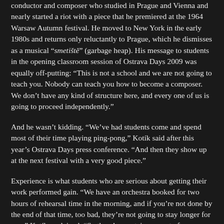conductor and composer who studied in Prague and Vienna and nearly started a riot with a piece that he premiered at the 1964 Warsaw Autumn festival. He moved to New York in the early 1980s and returns only reluctantly to Prague, which he dismisses as a musical “smetiště” (garbage heap). His message to students in the opening classroom session of Ostrava Days 2009 was equally off-putting: “This is not a school and we are not going to teach you. Nobody can teach you how to become a composer. We don’t have any kind of structure here, and every one of us is going to proceed independently.”
And he wasn’t kidding. “We’ve had students come and spend most of their time playing ping-pong,” Kotík said after this year’s Ostrava Days press conference. “And then they show up at the next festival with a very good piece.”
Experience is what students who are serious about getting their work performed gain. “We have an orchestra booked for two hours of rehearsal time in the morning, and if you’re not done by the end of that time, too bad, they’re not going to stay longer for you,” Kotík explained. “So there’s a certain amount of pressure, which many of them are experiencing for the first time. It’s not a